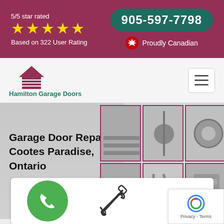5/5 star rated ★★★★★ Based on 322 User Rating | 905-597-7798 | Proudly Canadian
[Figure (logo): Hamilton Garage Doors logo with house/garage icon]
Hamilton Garage Doors
Garage Door Repair in Cootes Paradise, Ontario
[Figure (photo): Grid of 6 photos showing garage door parts: springs, rollers, cables]
[Figure (illustration): Green phone call button circle icon]
[Figure (illustration): Tools/wrench and screwdriver crossed icon]
[Figure (illustration): Google reCAPTCHA badge with Privacy and Terms text]